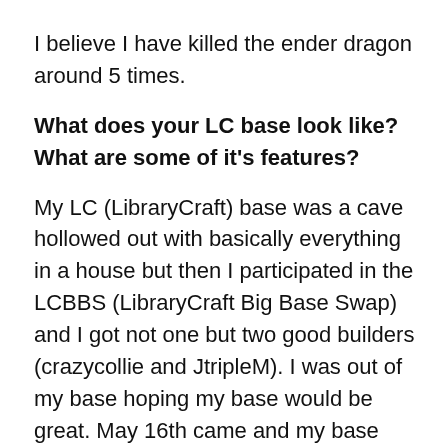I believe I have killed the ender dragon around 5 times.
What does your LC base look like? What are some of it's features?
My LC (LibraryCraft) base was a cave hollowed out with basically everything in a house but then I participated in the LCBBS (LibraryCraft Big Base Swap) and I got not one but two good builders (crazycollie and JtripleM). I was out of my base hoping my base would be great. May 16th came and my base became amazing with a watch tower at the top, bamboo, wheat, netherwart, carrot and berry